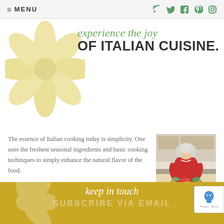≡ MENU
experience the joy of Italian cuisine. OF ITALIAN CUISINE.
The essence of Italian cooking today is simplicity. One uses the freshest seasonal ingredients and basic cooking techniques to simply enhance the natural flavor of the food.
more about me »
[Figure (photo): Woman in red shirt preparing food in a kitchen, chopping vegetables with a bowl of tomatoes visible]
keep in touch
SUBSCRIBE VIA EMAIL